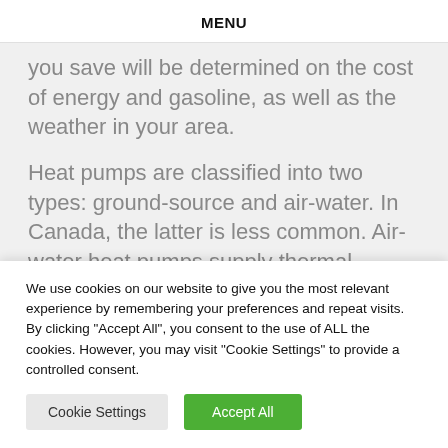MENU
you save will be determined on the cost of energy and gasoline, as well as the weather in your area.
Heat pumps are classified into two types: ground-source and air-water. In Canada, the latter is less common. Air-water heat pumps supply thermal energy to a hydronic distribution
We use cookies on our website to give you the most relevant experience by remembering your preferences and repeat visits. By clicking "Accept All", you consent to the use of ALL the cookies. However, you may visit "Cookie Settings" to provide a controlled consent.